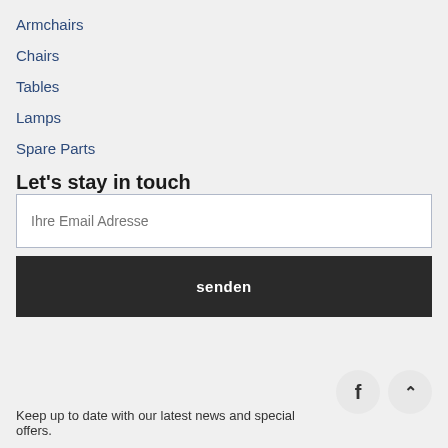Armchairs
Chairs
Tables
Lamps
Spare Parts
Let's stay in touch
Ihre Email Adresse
senden
Keep up to date with our latest news and special offers.